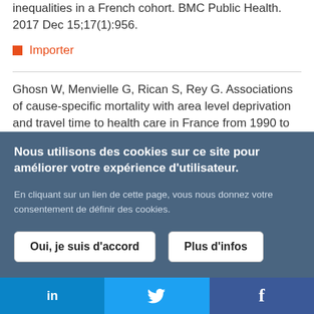inequalities in a French cohort. BMC Public Health. 2017 Dec 15;17(1):956.
Importer
Ghosn W, Menvielle G, Rican S, Rey G. Associations of cause-specific mortality with area level deprivation and travel time to health care in France from 1990 to 2007: a multilevel
Nous utilisons des cookies sur ce site pour améliorer votre expérience d'utilisateur. En cliquant sur un lien de cette page, vous nous donnez votre consentement de définir des cookies.
Oui, je suis d'accord
Plus d'infos
in
f